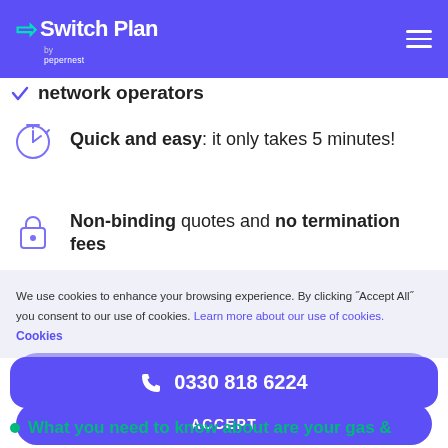Switch Plan by pepernest
network operators
Quick and easy: it only takes 5 minutes!
Non-binding quotes and no termination fees
We use cookies to enhance your browsing experience. By clicking "Accept All" you consent to our use of cookies. Learn more about our use of cookies.
Cookies
DECLINE
ACCEPT
0330 818 6224
What you need to know about are your gas &